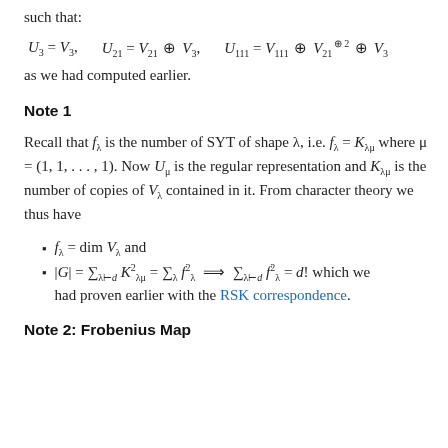such that:
as we had computed earlier.
Note 1
Recall that f_λ is the number of SYT of shape λ, i.e. f_λ = K_{λμ} where μ = (1,1,...,1). Now U_μ is the regular representation and K_{λμ} is the number of copies of V_λ contained in it. From character theory we thus have
f_λ = dim V_λ and
|G| = Σ_{λ⊢d} K²_{λμ} = Σ_λ f²_λ ⟹ Σ_{λ⊢d} f²_λ = d! which we had proven earlier with the RSK correspondence.
Note 2: Frobenius Map